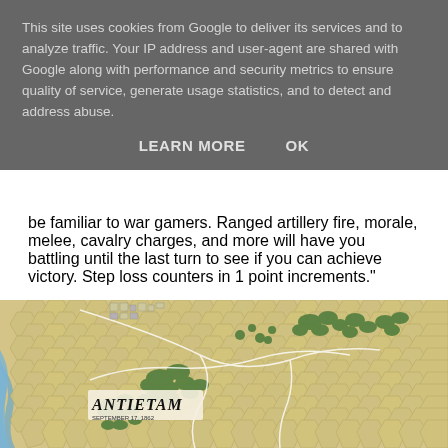be familiar to war gamers. Ranged artillery fire, morale, melee, cavalry charges, and more will have you battling until the last turn to see if you can achieve victory. Step loss counters in 1 point increments."
This site uses cookies from Google to deliver its services and to analyze traffic. Your IP address and user-agent are shared with Google along with performance and security metrics to ensure quality of service, generate usage statistics, and to detect and address abuse.
LEARN MORE    OK
[Figure (map): Antietam war game hex map showing beige/tan hexagonal terrain grid with green wooded area markers, white boundary lines, an ANTIETAM logo/title in lower left, and a blue river on the left edge.]